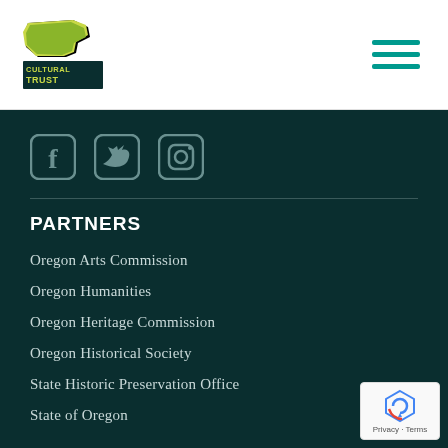[Figure (logo): Oregon Cultural Trust logo with green state shape and yellow-green text reading CULTURAL TRUST]
[Figure (infographic): Hamburger menu icon with three teal horizontal lines]
[Figure (infographic): Social media icons: Facebook, Twitter, Instagram in rounded square style on dark teal background]
PARTNERS
Oregon Arts Commission
Oregon Humanities
Oregon Heritage Commission
Oregon Historical Society
State Historic Preservation Office
State of Oregon
[Figure (other): reCAPTCHA badge with Privacy and Terms text]